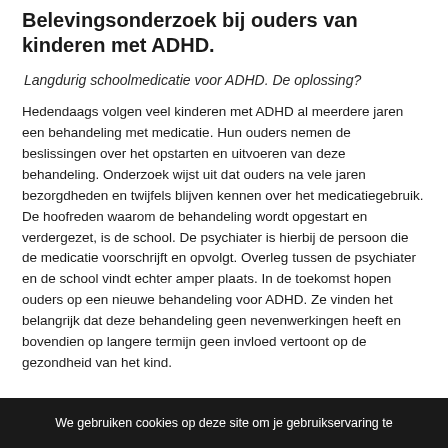Belevingsonderzoek bij ouders van kinderen met ADHD.
Langdurig schoolmedicatie voor ADHD. De oplossing?
Hedendaags volgen veel kinderen met ADHD al meerdere jaren een behandeling met medicatie. Hun ouders nemen de beslissingen over het opstarten en uitvoeren van deze behandeling. Onderzoek wijst uit dat ouders na vele jaren bezorgdheden en twijfels blijven kennen over het medicatiegebruik. De hoofreden waarom de behandeling wordt opgestart en verdergezet, is de school. De psychiater is hierbij de persoon die de medicatie voorschrijft en opvolgt. Overleg tussen de psychiater en de school vindt echter amper plaats. In de toekomst hopen ouders op een nieuwe behandeling voor ADHD. Ze vinden het belangrijk dat deze behandeling geen nevenwerkingen heeft en bovendien op langere termijn geen invloed vertoont op de gezondheid van het kind.
We gebruiken cookies op deze site om je gebruikservaring te